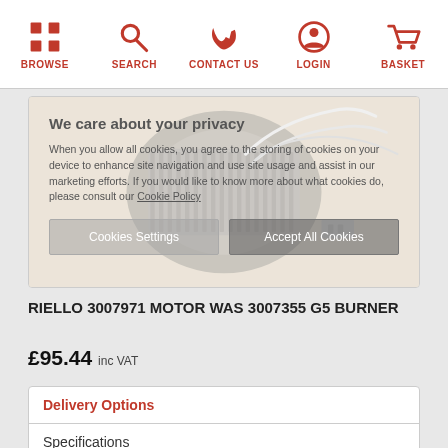BROWSE | SEARCH | CONTACT US | LOGIN | BASKET
[Figure (photo): Photo of a Riello 3007971 motor for G5 burner, showing electrical motor with wires, overlaid with a cookie consent dialog]
We care about your privacy
When you allow all cookies, you agree to the storing of cookies on your device to enhance site navigation and use site usage and assist in our marketing efforts. If you would like to know more about what cookies do, please consult our Cookie Policy
[Cookies Settings] [Accept All Cookies]
RIELLO 3007971 MOTOR WAS 3007355 G5 BURNER
£95.44 inc VAT
Delivery Options
Specifications
Standard Delivery (3 - 5 Days)